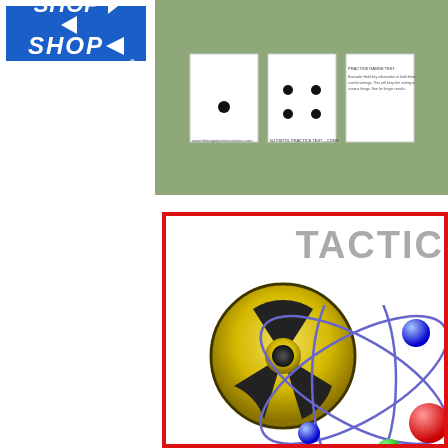[Figure (logo): Brownells shop logo, blue background with white text SHOP and BROWNELLS]
[Figure (illustration): Green banner showing three shooting target paper sheets with black dot patterns]
[Figure (illustration): White card with red border, gray text 'TACTIC', radiation hazard symbol (yellow/black), and atomic model diagram with blue and red spheres on blue orbital ellipses]